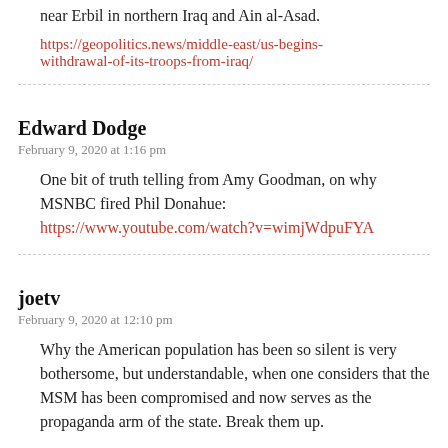near Erbil in northern Iraq and Ain al-Asad.
https://geopolitics.news/middle-east/us-begins-withdrawal-of-its-troops-from-iraq/
Edward Dodge
February 9, 2020 at 1:16 pm
One bit of truth telling from Amy Goodman, on why MSNBC fired Phil Donahue: https://www.youtube.com/watch?v=wimjWdpuFYA
joetv
February 9, 2020 at 12:10 pm
Why the American population has been so silent is very bothersome, but understandable, when one considers that the MSM has been compromised and now serves as the propaganda arm of the state. Break them up.